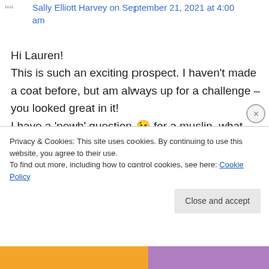Sally Elliott Harvey on September 21, 2021 at 4:00 am
Hi Lauren!
This is such an exciting prospect. I haven't made a coat before, but am always up for a challenge – you looked great in it!
I have a 'newb' question 😉 for a muslin, what fabric should be used, and how much would we need?
I'm a UK fan so getting the pattern might be a bit trickier for me, but I really want to join in!
Privacy & Cookies: This site uses cookies. By continuing to use this website, you agree to their use.
To find out more, including how to control cookies, see here: Cookie Policy
Close and accept